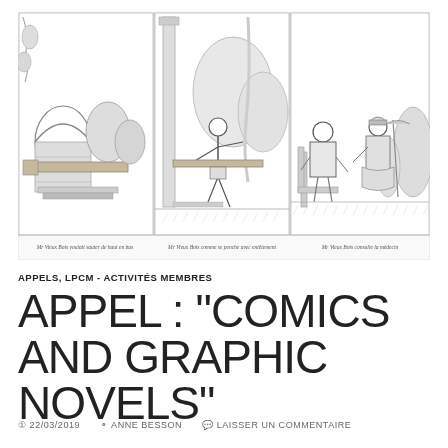[Figure (illustration): Three black and white comic-style illustrations side by side. Left panel: an empty garden/architectural scene with stone arch and wooden beam. Center panel: a figure in athletic/short clothing lifting or carrying a wooden beam outdoors, with trees and a column in background. Right panel: two figures seated on chairs, appearing to be in conversation, one holding an umbrella. Each panel has a handwritten caption beneath it in French: 'Mr Vieux Bois voulait sauter de haut en pas', 'Mr Vieux Bois comme se panche avec entêtement', 'Mr Vieux Bois consulte la médecin'.]
APPELS, LPCM - ACTIVITÉS MEMBRES
APPEL : “COMICS AND GRAPHIC NOVELS”
22/03/2019   ANNE BESSON   LAISSER UN COMMENTAIRE